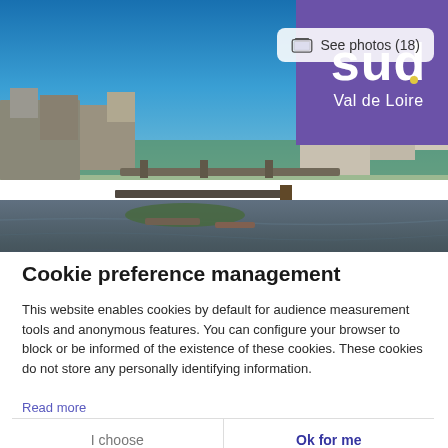[Figure (photo): Scenic riverside photo of Val de Loire with stone buildings, bridge, boats on a calm river reflecting the blue sky and surrounding architecture]
[Figure (logo): Sud Val de Loire purple logo box with white lettering and yellow dot]
Cookie preference management
This website enables cookies by default for audience measurement tools and anonymous features. You can configure your browser to block or be informed of the existence of these cookies. These cookies do not store any personally identifying information.
Read more